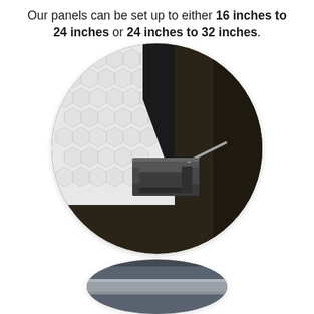Our panels can be set up to either 16 inches to 24 inches or 24 inches to 32 inches.
[Figure (photo): Close-up circular photo showing a black metal panel bracket/clip mechanism with a C-shaped channel bracket and metal pin, against a white textured honeycomb surface background.]
[Figure (photo): Partial circular cropped photo at bottom showing a dark grey/slate textured panel surface with a lighter grey strip, viewed from an angle.]